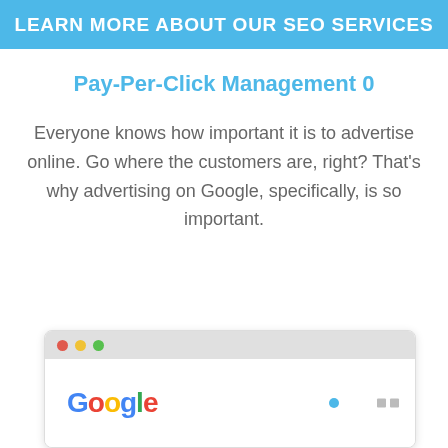LEARN MORE ABOUT OUR SEO SERVICES
Pay-Per-Click Management 0
Everyone knows how important it is to advertise online. Go where the customers are, right? That's why advertising on Google, specifically, is so important.
[Figure (screenshot): Browser window mockup showing a simplified Google search page interface with colored dots (red, yellow, green) in the browser bar and a stylized Google logo in the content area.]